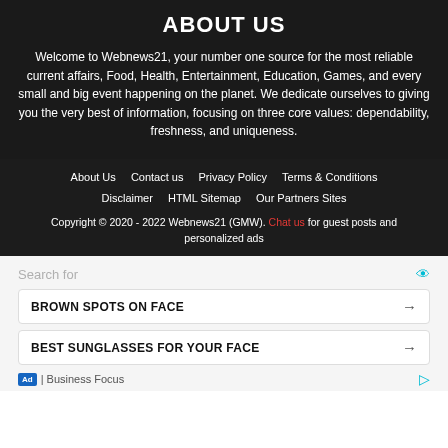ABOUT US
Welcome to Webnews21, your number one source for the most reliable current affairs, Food, Health, Entertainment, Education, Games, and every small and big event happening on the planet. We dedicate ourselves to giving you the very best of information, focusing on three core values: dependability, freshness, and uniqueness.
About Us   Contact us   Privacy Policy   Terms & Conditions   Disclaimer   HTML Sitemap   Our Partners Sites
Copyright © 2020 - 2022 Webnews21 (GMW). Chat us for guest posts and personalized ads
Search for
BROWN SPOTS ON FACE
BEST SUNGLASSES FOR YOUR FACE
Ad | Business Focus